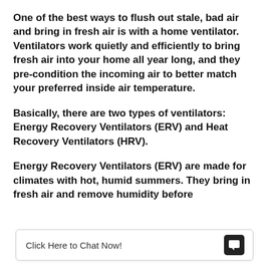One of the best ways to flush out stale, bad air and bring in fresh air is with a home ventilator. Ventilators work quietly and efficiently to bring fresh air into your home all year long, and they pre-condition the incoming air to better match your preferred inside air temperature.
Basically, there are two types of ventilators: Energy Recovery Ventilators (ERV) and Heat Recovery Ventilators (HRV).
Energy Recovery Ventilators (ERV) are made for climates with hot, humid summers. They bring in fresh air and remove humidity before
Click Here to Chat Now!